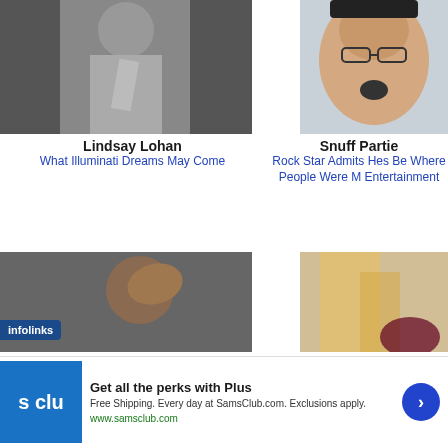[Figure (photo): Black and white photo of Lindsay Lohan]
[Figure (photo): Color photo of rock star man with goatee and glasses]
Lindsay Lohan
What Illuminati Dreams May Come
Snuff Partie
Rock Star Admits Hes Be Where People Were M Entertainment
[Figure (photo): Child holding head in hands]
[Figure (photo): Blond hair close up]
infolinks
[Figure (screenshot): Sam's Club Plus advertisement: Get all the perks with Plus. Free Shipping. Every day at SamsClub.com. Exclusions apply. www.samsclub.com]